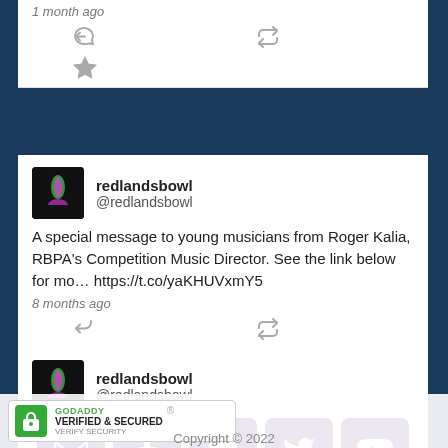1 month ago
[Figure (screenshot): Tweet from redlandsbowl @redlandsbowl: A special message to young musicians from Roger Kalia, RBPA's Competition Music Director. See the link below for mo… https://t.co/yaKHUVxmY5 — 8 months ago]
[Figure (screenshot): Partial tweet from redlandsbowl @redlandsbowl]
[Figure (infographic): Social media icon buttons: email, Facebook, Instagram, Twitter, YouTube — dark purple rounded squares]
[Figure (logo): GoDaddy Verified & Secured badge with green lock icon]
Copyright © 2022